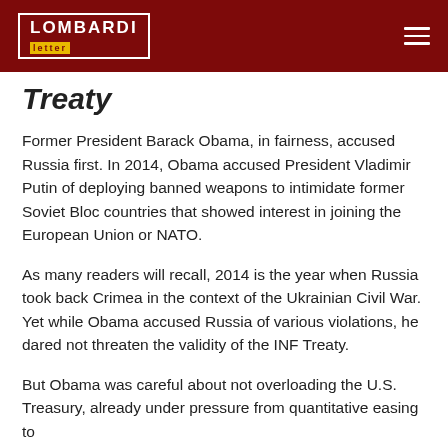LOMBARDI letter
Treaty
Former President Barack Obama, in fairness, accused Russia first. In 2014, Obama accused President Vladimir Putin of deploying banned weapons to intimidate former Soviet Bloc countries that showed interest in joining the European Union or NATO.
As many readers will recall, 2014 is the year when Russia took back Crimea in the context of the Ukrainian Civil War. Yet while Obama accused Russia of various violations, he dared not threaten the validity of the INF Treaty.
But Obama was careful about not overloading the U.S. Treasury, already under pressure from quantitative easing to